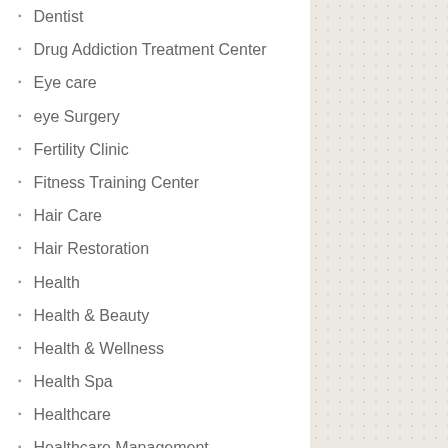Dentist
Drug Addiction Treatment Center
Eye care
eye Surgery
Fertility Clinic
Fitness Training Center
Hair Care
Hair Restoration
Health
Health & Beauty
Health & Wellness
Health Spa
Healthcare
Healthcare Management
Healthcare Services & Products
Hearing Aid Equipment Store
Home Health Care Service